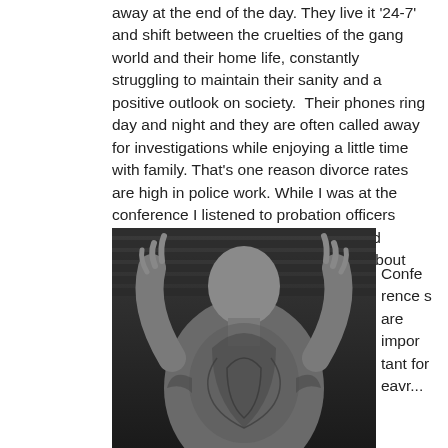away at the end of the day. They live it '24-7' and shift between the cruelties of the gang world and their home life, constantly struggling to maintain their sanity and a positive outlook on society.  Their phones ring day and night and they are often called away for investigations while enjoying a little time with family. That's one reason divorce rates are high in police work. While I was at the conference I listened to probation officers getting calls about parole violators, and investigators talking to patrol officers about certain 'tats' on a suspect.
[Figure (photo): Black and white photo of a heavily tattooed bald man seen from behind, with his arms raised showing gang-style hand signs, with elaborate tattoos covering his back and arms.]
Conferences are important for eavr...